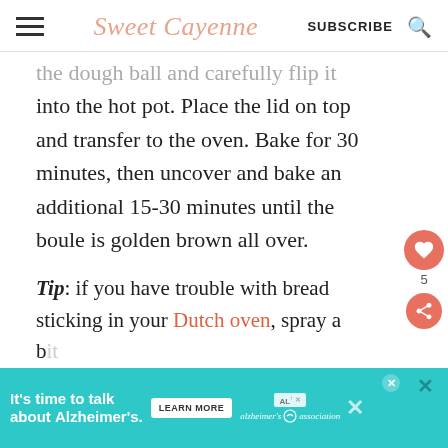Sweet Cayenne | SUBSCRIBE
the dough ball and carefully flip it into the hot pot. Place the lid on top and transfer to the oven. Bake for 30 minutes, then uncover and bake an additional 15-30 minutes until the boule is golden brown all over.
Tip: if you have trouble with bread sticking in your Dutch oven, spray a bit of cooking spray in the bottom of the pot
[Figure (other): Advertisement banner: It's time to talk about Alzheimer's. LEARN MORE. Alzheimer's Association logo. Close buttons.]